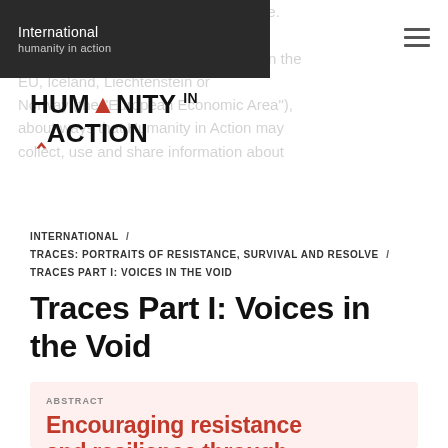International
[Figure (logo): Humanity in Action logo with red caret/A symbol]
get the best experience on our website. your Privacy Policy and Terms of Use, particularly if you are located in the EU, Iceland, Liechtenstein or Norway (the "European Economic Area"), about ways that Humanity in Action may collect, use and share information about
INTERNATIONAL /
TRACES: PORTRAITS OF RESISTANCE, SURVIVAL AND RESOLVE /
TRACES PART I: VOICES IN THE VOID
Traces Part I: Voices in the Void
Encouraging resistance and resilience through